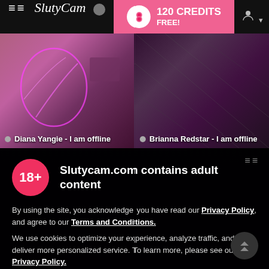SlutyCam — 120 CREDITS FREE!
[Figure (screenshot): Webcam thumbnail of Diana Yangie with neon pink lighting, labeled 'Diana Yangie - I am offline']
[Figure (screenshot): Webcam thumbnail of Brianna Redstar, labeled 'Brianna Redstar - I am offline']
Slutycam.com contains adult content
By using the site, you acknowledge you have read our Privacy Policy, and agree to our Terms and Conditions.
We use cookies to optimize your experience, analyze traffic, and deliver more personalized service. To learn more, please see our Privacy Policy.
I AGREE